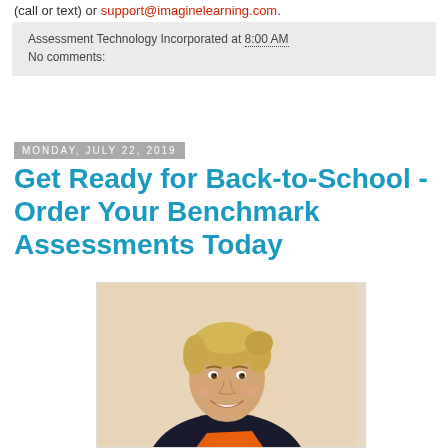(call or text) or support@imaginelearning.com.
Assessment Technology Incorporated at 8:00 AM
No comments:
Monday, July 22, 2019
Get Ready for Back-to-School - Order Your Benchmark Assessments Today
[Figure (photo): Smiling young blonde woman wearing a dark top with an orange accent, photographed against a light beige background.]